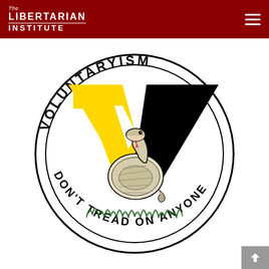The Libertarian Institute
[Figure (logo): Voluntaryism circular emblem: a coiled rattlesnake on grass in the center, overlaid on a large yellow and black V (voluntaryism symbol / anarcho-capitalist symbol). Text around the circle reads 'VOLUNTARYISM' on top and 'DON'T TREAD ON ANYONE' on the bottom. Black and white with yellow accent.]